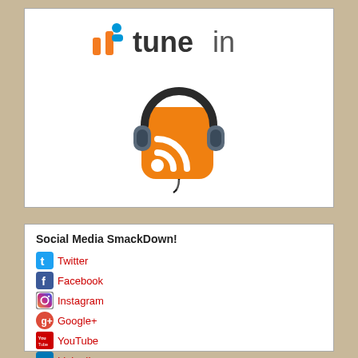[Figure (logo): TuneIn logo with orange person icon and dark 'tunein' wordmark]
[Figure (illustration): Podcast icon: orange RSS feed square with headphones overlaid on top]
Social Media SmackDown!
Twitter
Facebook
Instagram
Google+
YouTube
LinkedIn
Foursquare